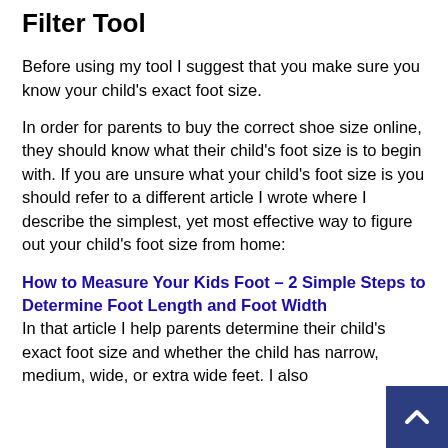Filter Tool
Before using my tool I suggest that you make sure you know your child's exact foot size.
In order for parents to buy the correct shoe size online, they should know what their child's foot size is to begin with. If you are unsure what your child's foot size is you should refer to a different article I wrote where I describe the simplest, yet most effective way to figure out your child's foot size from home:
How to Measure Your Kids Foot – 2 Simple Steps to Determine Foot Length and Foot Width
In that article I help parents determine their child's exact foot size and whether the child has narrow, medium, wide, or extra wide feet. I also